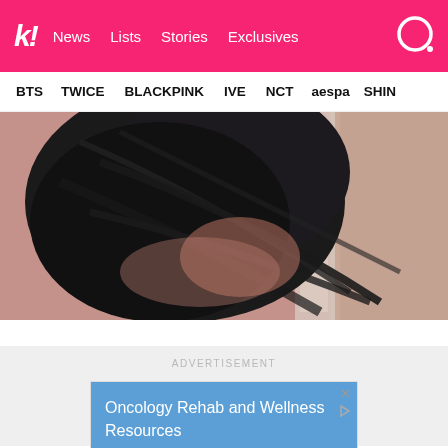k! News Lists Stories Exclusives
BTS TWICE BLACKPINK IVE NCT aespa SHIN
[Figure (photo): Close-up photo of a person with dark black hair, face partially hidden, wearing pink/mauve tones, against a floral patterned background]
ADVERTISEMENT
[Figure (screenshot): Advertisement banner with blue background showing text: Oncology Rehab and Wellness Resources]